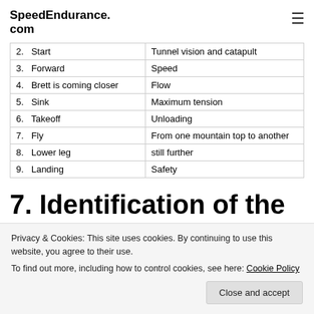SpeedEndurance.com
| 2.  Start | Tunnel vision and catapult |
| 3.  Forward | Speed |
| 4.  Brett is coming closer | Flow |
| 5.  Sink | Maximum tension |
| 6.  Takeoff | Unloading |
| 7.  Fly | From one mountain top to another |
| 8.  Lower leg | still further |
| 9.  Landing | Safety |
7. Identification of the
Privacy & Cookies: This site uses cookies. By continuing to use this website, you agree to their use.
To find out more, including how to control cookies, see here: Cookie Policy